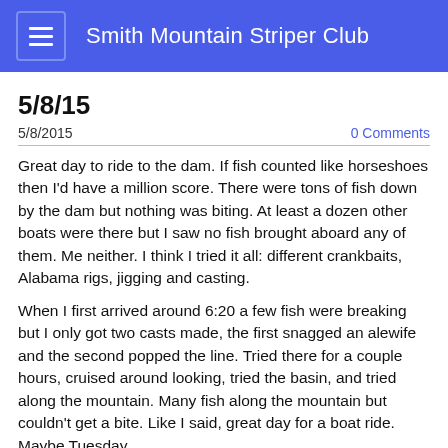Smith Mountain Striper Club
5/8/15
5/8/2015
0 Comments
Great day to ride to the dam. If fish counted like horseshoes then I'd have a million score. There were tons of fish down by the dam but nothing was biting. At least a dozen other boats were there but I saw no fish brought aboard any of them. Me neither. I think I tried it all: different crankbaits, Alabama rigs, jigging and casting.
When I first arrived around 6:20 a few fish were breaking but I only got two casts made, the first snagged an alewife and the second popped the line. Tried there for a couple hours, cruised around looking, tried the basin, and tried along the mountain. Many fish along the mountain but couldn't get a bite. Like I said, great day for a boat ride. Maybe Tuesday.
Later